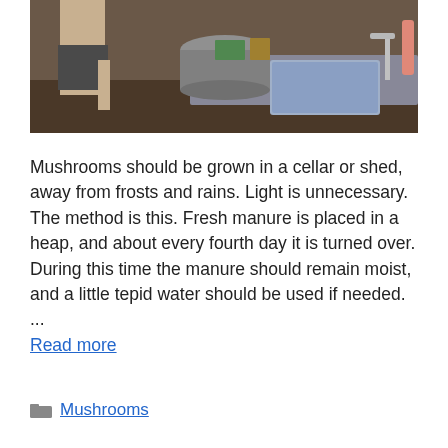[Figure (photo): A person standing in a kitchen near a sink, with various kitchen items visible including a large metal pot and cleaning supplies.]
Mushrooms should be grown in a cellar or shed, away from frosts and rains. Light is unnecessary. The method is this. Fresh manure is placed in a heap, and about every fourth day it is turned over. During this time the manure should remain moist, and a little tepid water should be used if needed. ...
Read more
Mushrooms